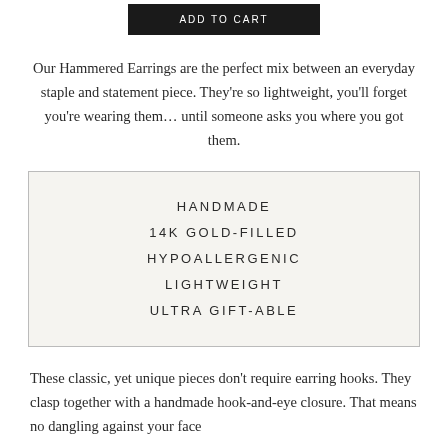[Figure (other): ADD TO CART button, dark/black background with white uppercase text]
Our Hammered Earrings are the perfect mix between an everyday staple and statement piece. They're so lightweight, you'll forget you're wearing them... until someone asks you where you got them.
HANDMADE
14K GOLD-FILLED
HYPOALLERGENIC
LIGHTWEIGHT
ULTRA GIFT-ABLE
These classic, yet unique pieces don't require earring hooks. They clasp together with a handmade hook-and-eye closure. That means no dangling against your face